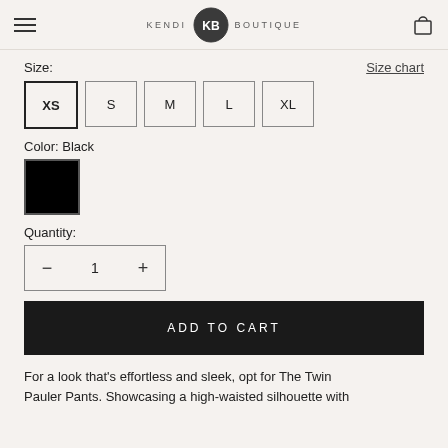KENDI KB BOUTIQUE
Size:
Size chart
XS
S
M
L
XL
Color: Black
[Figure (other): Black color swatch square]
Quantity:
— 1 +
ADD TO CART
For a look that's effortless and sleek, opt for The Twin Pauler Pants. Showcasing a high-waisted silhouette with